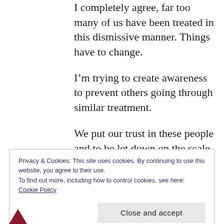I completely agree, far too many of us have been treated in this dismissive manner. Things have to change.
I'm trying to create awareness to prevent others going through similar treatment.
We put our trust in these people and to be let down on the scale we are is shocking.
Privacy & Cookies: This site uses cookies. By continuing to use this website, you agree to their use.
To find out more, including how to control cookies, see here:
Cookie Policy
Close and accept